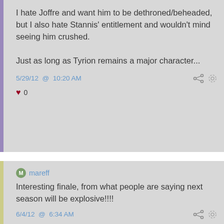I hate Joffre and want him to be dethroned/beheaded, but I also hate Stannis' entitlement and wouldn't mind seeing him crushed.

Just as long as Tyrion remains a major character...
5/29/12 @ 10:20 AM
0
mareff
Interesting finale, from what people are saying next season will be explosive!!!!
6/4/12 @ 6:34 AM
0